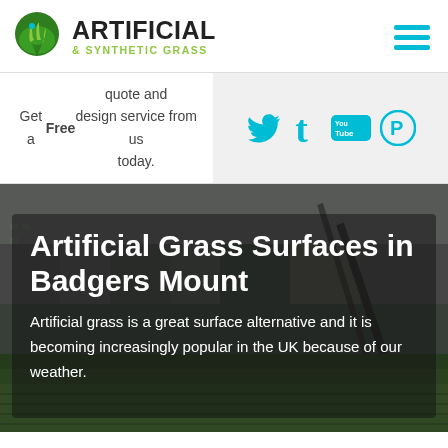[Figure (logo): Artificial & Synthetic Grass logo with green leaf/map-pin icon and bold text]
[Figure (other): Hamburger menu icon with three cyan horizontal bars]
Get a Free quote and design service from us today.
[Figure (other): Social media icons: Twitter, Tumblr, YouTube, Pinterest in cyan on light grey background]
Artificial Grass Surfaces in Badgers Mount
Artificial grass is a great surface alternative and it is becoming increasingly popular in the UK because of our weather.
[Figure (photo): Photo of an artificial grass sports surface area with buildings and fencing in the background]